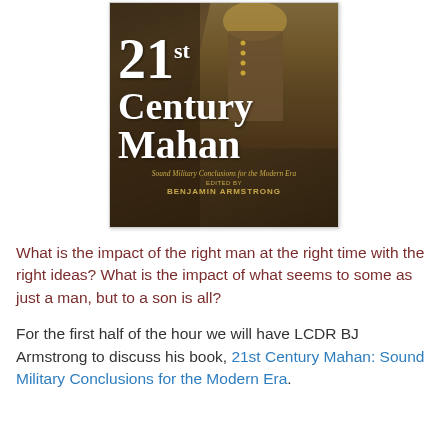[Figure (illustration): Book cover of '21st Century Mahan: Sound Military Conclusions for the Modern Era' edited by Benjamin Armstrong. Features a historical military figure on a dark brown background with gold/cream title text.]
What is the impact of the right man at the right time with the right ideas? What is the impact of what seems to some as just a man, but to a son is all?
For the first half of the hour we will have LCDR BJ Armstrong to discuss his book, 21st Century Mahan: Sound Military Conclusions for the Modern Era.